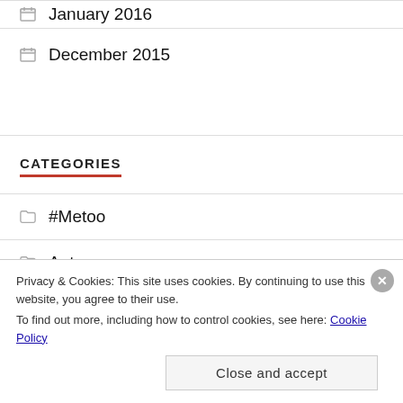January 2016
December 2015
CATEGORIES
#Metoo
Autumn
Privacy & Cookies: This site uses cookies. By continuing to use this website, you agree to their use. To find out more, including how to control cookies, see here: Cookie Policy
Close and accept